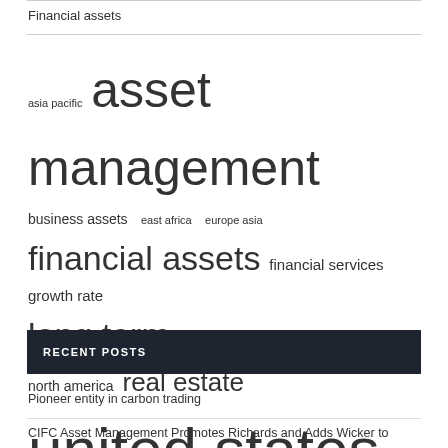Financial assets
[Figure (other): Tag cloud with finance-related keywords in varying font sizes: asia pacific, asset management, business assets, east africa, europe asia, financial assets, financial services, growth rate, long term, market report, middle east, mutual funds, north america, real estate, united states]
RECENT POSTS
Pioneer entity in carbon trading
CIFC Asset Management Promotes Richards and Adds Wicker to